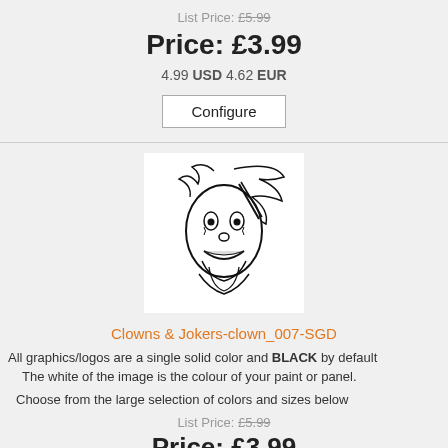List Price: £5.99
Price: £3.99
4.99 USD 4.62 EUR
Configure
[Figure (illustration): Black and white ink drawing of a clown or joker face with wild hair and dramatic expression]
Clowns & Jokers-clown_007-SGD
All graphics/logos are a single solid color and BLACK by default
The white of the image is the colour of your paint or panel.
Choose from the large selection of colors and sizes below
List Price: £5.99
Price: £3.99
4.99 USD 4.62 EUR